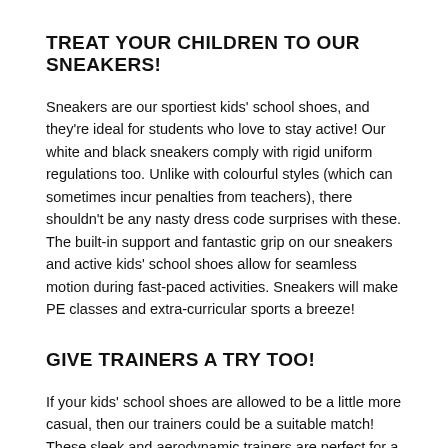TREAT YOUR CHILDREN TO OUR SNEAKERS!
Sneakers are our sportiest kids' school shoes, and they're ideal for students who love to stay active! Our white and black sneakers comply with rigid uniform regulations too. Unlike with colourful styles (which can sometimes incur penalties from teachers), there shouldn't be any nasty dress code surprises with these. The built-in support and fantastic grip on our sneakers and active kids' school shoes allow for seamless motion during fast-paced activities. Sneakers will make PE classes and extra-curricular sports a breeze!
GIVE TRAINERS A TRY TOO!
If your kids' school shoes are allowed to be a little more casual, then our trainers could be a suitable match! These sleek and aerodynamic trainers are perfect for a full day of wear by the most energetic students. However, the glossy material and slender